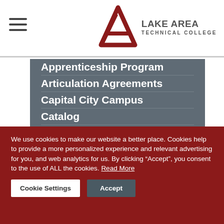Lake Area Technical College
Apprenticeship Program
Articulation Agreements
Capital City Campus
Catalog
Dual Credit
We use cookies to make our website a better place. Cookies help to provide a more personalized experience and relevant advertising for you, and web analytics for us. By clicking “Accept”, you consent to the use of ALL the cookies. Read More
Cookie Settings | Accept